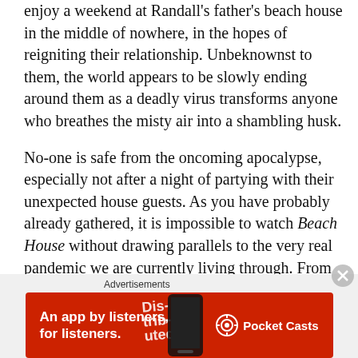enjoy a weekend at Randall's father's beach house in the middle of nowhere, in the hopes of reigniting their relationship. Unbeknownst to them, the world appears to be slowly ending around them as a deadly virus transforms anyone who breathes the misty air into a shambling husk.
No-one is safe from the oncoming apocalypse, especially not after a night of partying with their unexpected house guests. As you have probably already gathered, it is impossible to watch Beach House without drawing parallels to the very real pandemic we are currently living through. From homemade masks to the deadly pathogen being transferred by touch, everything feels very on the nose, but that just makes the viewing experience even more terrifving.
[Figure (infographic): Red advertisement banner for Pocket Casts app with text 'An app by listeners, for listeners.' and Pocket Casts logo, overlaid on a diagonal stylized text reading 'Distributed' and a smartphone image.]